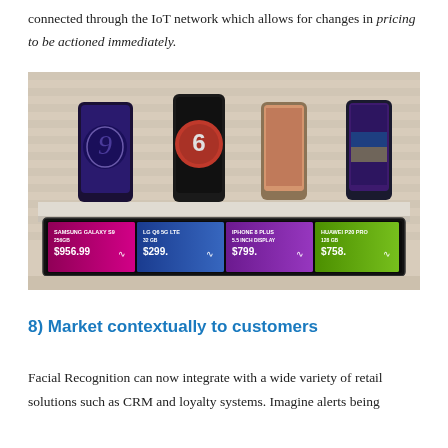connected through the IoT network which allows for changes in pricing to be actioned immediately.
[Figure (photo): A retail shelf display showing four smartphones (Samsung Galaxy S9 256GB $956.99, LG Q6 5G LTE 32GB $299, iPhone 8 Plus 5.5 inch display $799, Huawei P20 Pro 128GB $758) with a digital price display bar beneath them showing colored price tags.]
8) Market contextually to customers
Facial Recognition can now integrate with a wide variety of retail solutions such as CRM and loyalty systems. Imagine alerts being